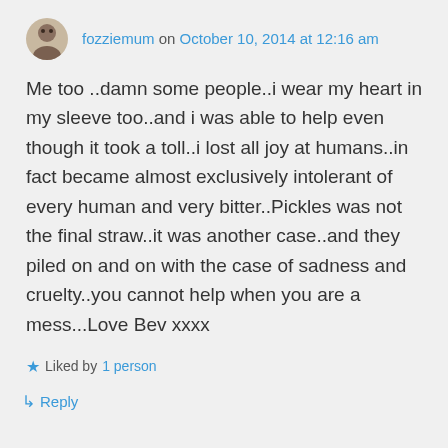fozziemum on October 10, 2014 at 12:16 am
Me too ..damn some people..i wear my heart in my sleeve too..and i was able to help even though it took a toll..i lost all joy at humans..in fact became almost exclusively intolerant of every human and very bitter..Pickles was not the final straw..it was another case..and they piled on and on with the case of sadness and cruelty..you cannot help when you are a mess...Love Bev xxxx
Liked by 1 person
Reply